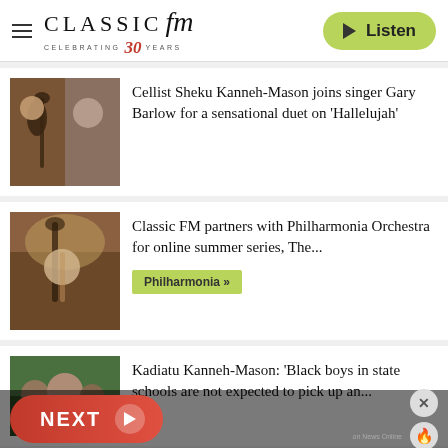[Figure (logo): Classic FM logo with 'Celebrating 30 Years' and a Listen button]
Cellist Sheku Kanneh-Mason joins singer Gary Barlow for a sensational duet on ‘Hallelujah’
Classic FM partners with Philharmonia Orchestra for online summer series, The...
Philharmonia »
Kadiatu Kanneh-Mason: ‘Black boys in state schools are not expected to pick up an...
NEXT